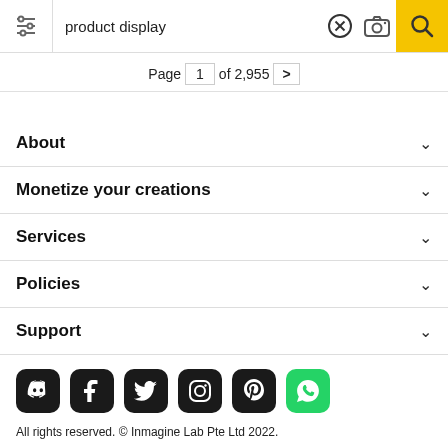[Figure (screenshot): Search bar with filter icon, 'product display' text, X button, camera icon, and yellow search button]
Page 1 of 2,955 >
About
Monetize your creations
Services
Policies
Support
[Figure (illustration): Row of social media icons: Discord, Facebook, Twitter, Instagram, Pinterest, WhatsApp]
All rights reserved. © Inmagine Lab Pte Ltd 2022.